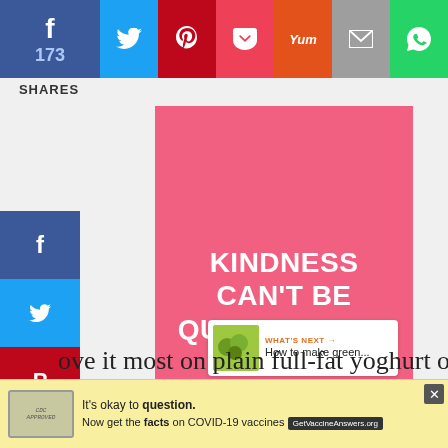[Figure (screenshot): Social sharing top bar with Facebook (173), Twitter, Pinterest, Pocket, Yummly, Email, WhatsApp buttons]
SHARES
[Figure (screenshot): Left vertical social share sidebar with Facebook, Twitter, Pinterest, Yummly, Pocket, Buffer, Telegram, Email buttons]
[Figure (illustration): Pink card with white hand-lettered text reading KINDNESS CAN'T BE QUARANTINED]
175
[Figure (screenshot): WHAT'S NEXT panel with green image and text: How to make green...]
ove it most on plain full-fat yoghurt or with
[Figure (screenshot): Ad banner: It's okay to question. Now get the facts on COVID-19 vaccines. GetVaccineAnswers.org]